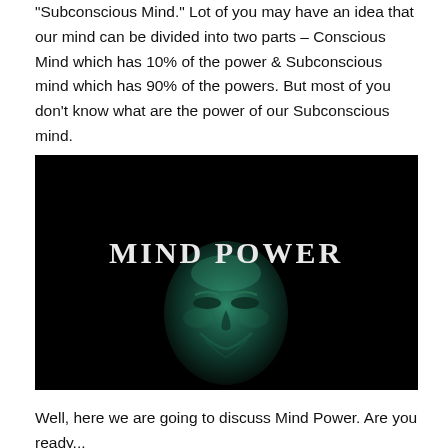"Subconscious Mind." Lot of you may have an idea that our mind can be divided into two parts – Conscious Mind which has 10% of the power & Subconscious mind which has 90% of the powers. But most of you don't know what are the power of our Subconscious mind.
[Figure (illustration): Dark black background image with a glowing green-lit human face/mask and the text 'MIND POWER' in large white serif letters above the face.]
Well, here we are going to discuss Mind Power. Are you ready...